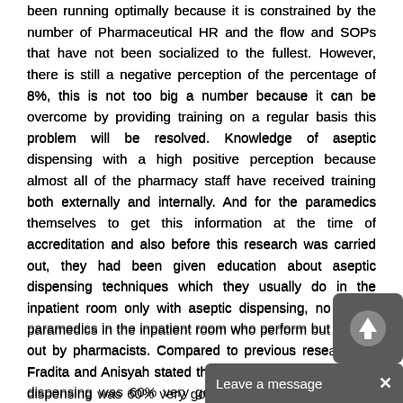been running optimally because it is constrained by the number of Pharmaceutical HR and the flow and SOPs that have not been socialized to the fullest. However, there is still a negative perception of the percentage of 8%, this is not too big a number because it can be overcome by providing training on a regular basis this problem will be resolved. Knowledge of aseptic dispensing with a high positive perception because almost all of the pharmacy staff have received training both externally and internally. And for the paramedics themselves to get this information at the time of accreditation and also before this research was carried out, they had been given education about aseptic dispensing techniques which they usually do in the inpatient room only with aseptic dispensing, no longer paramedics in the inpatient room who perform but carried out by pharmacists. Compared to previous research by Fradita and Anisyah stated that knowledge about aseptic dispensing was 60% very good, 33% adequate. At Mitra Keluarga Hos